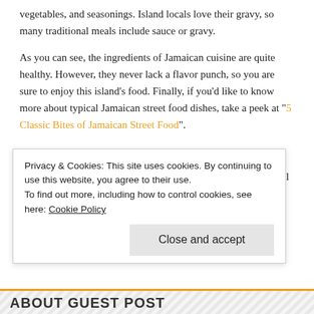vegetables, and seasonings. Island locals love their gravy, so many traditional meals include sauce or gravy.
As you can see, the ingredients of Jamaican cuisine are quite healthy. However, they never lack a flavor punch, so you are sure to enjoy this island's food. Finally, if you'd like to know more about typical Jamaican street food dishes, take a peek at "5 Classic Bites of Jamaican Street Food".
—
About the author: Michael is a native of Jamaica, the beautiful island paradise that sees over 1.5 million visitors yearly. He enjoys exploring the country and showcasing it's country, food and people with the rest of the world. His articles serve as a travel guide to anyone who wish
Privacy & Cookies: This site uses cookies. By continuing to use this website, you agree to their use.
To find out more, including how to control cookies, see here: Cookie Policy
Close and accept
ABOUT GUEST POST